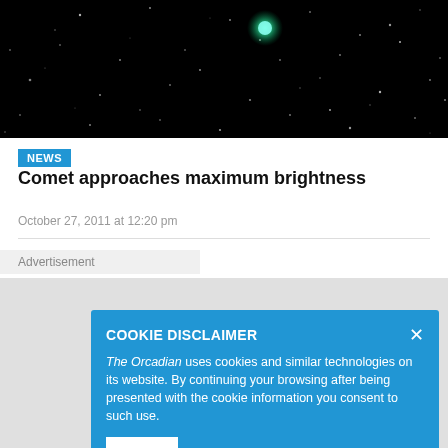[Figure (photo): Night sky photograph showing a comet with a faint green glow surrounded by numerous stars on a black background.]
NEWS
Comet approaches maximum brightness
October 27, 2011 at 12:20 pm
Advertisement
COOKIE DISCLAIMER

The Orcadian uses cookies and similar technologies on its website. By continuing your browsing after being presented with the cookie information you consent to such use.

OK
Caption